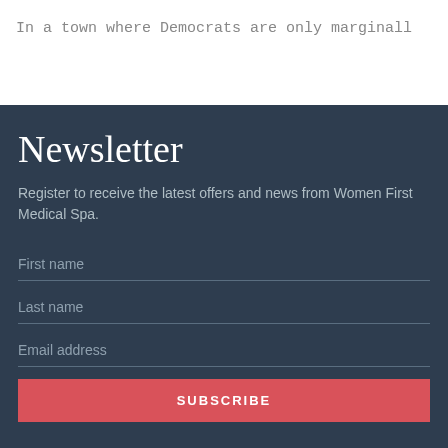In a town where Democrats are only marginall
Newsletter
Register to receive the latest offers and news from Women First Medical Spa.
First name
Last name
Email address
SUBSCRIBE